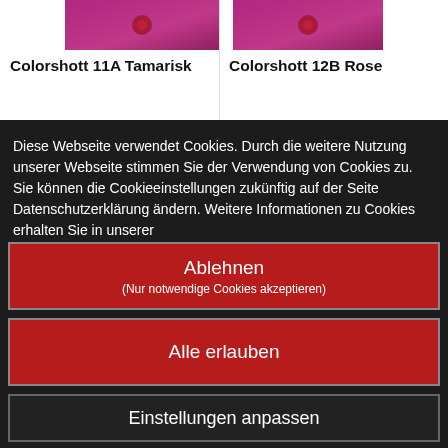[Figure (photo): Product image for Colorshott 11A Tamarisk - purplish-pink color swatch]
Colorshott 11A Tamarisk
[Figure (photo): Product image for Colorshott 12B Rose - purplish-pink color swatch]
Colorshott 12B Rose
Diese Webseite verwendet Cookies. Durch die weitere Nutzung unserer Webseite stimmen Sie der Verwendung von Cookies zu. Sie können die Cookieeinstellungen zukünftig auf der Seite Datenschutzerklärung ändern. Weitere Informationen zu Cookies erhalten Sie in unserer
Ablehnen
(Nur notwendige Cookies akzeptieren)
Alle erlauben
Einstellungen anpassen